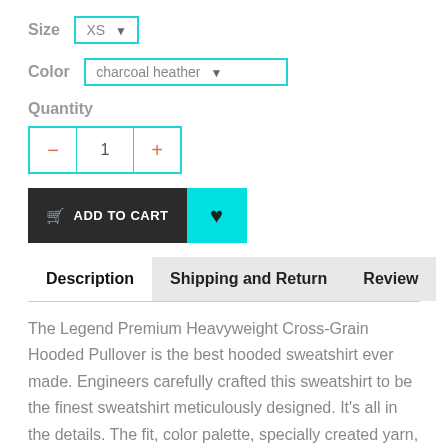Size  XS ▾
Color  charcoal heather ▾
Quantity
— 1 +
ADD TO CART ♥
Description   Shipping and Return   Review
The Legend Premium Heavyweight Cross-Grain Hooded Pullover is the best hooded sweatshirt ever made. Engineers carefully crafted this sweatshirt to be the finest sweatshirt meticulously designed. It's all in the details. The fit, color palette, specially created yarn, from the way the fabric is dyed, knit, and sewn. Try it for yourself, it'll soon become your favorite pullover. Guaranteed to last.